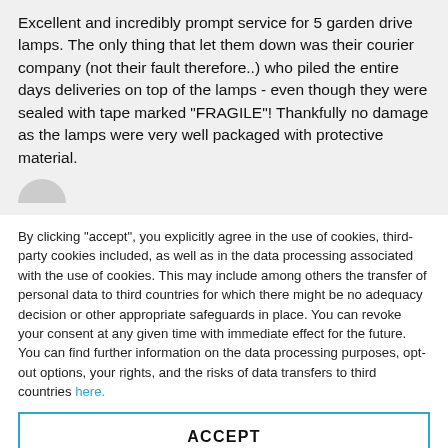Excellent and incredibly prompt service for 5 garden drive lamps. The only thing that let them down was their courier company (not their fault therefore..) who piled the entire days deliveries on top of the lamps - even though they were sealed with tape marked "FRAGILE"! Thankfully no damage as the lamps were very well packaged with protective material.
By clicking "accept", you explicitly agree in the use of cookies, third-party cookies included, as well as in the data processing associated with the use of cookies. This may include among others the transfer of personal data to third countries for which there might be no adequacy decision or other appropriate safeguards in place. You can revoke your consent at any given time with immediate effect for the future. You can find further information on the data processing purposes, opt-out options, your rights, and the risks of data transfers to third countries here.
ACCEPT